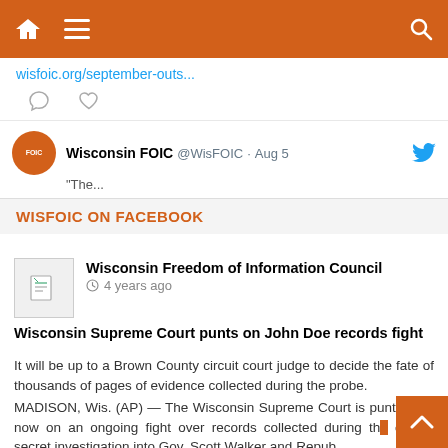[Figure (screenshot): Orange navigation bar with home icon, hamburger menu icon, and search icon]
wisfoic.org/september-outs...
[Figure (screenshot): Comment and heart/like reaction icons]
Wisconsin FOIC @WisFOIC · Aug 5
"The... [tweet preview text truncated]
WISFOIC ON FACEBOOK
Wisconsin Freedom of Information Council
4 years ago
Wisconsin Supreme Court punts on John Doe records fight
It will be up to a Brown County circuit court judge to decide the fate of thousands of pages of evidence collected during the probe.
MADISON, Wis. (AP) — The Wisconsin Supreme Court is punting for now on an ongoing fight over records collected during the closed secret investigation into Gov. Scott Walker and Repub[lican]